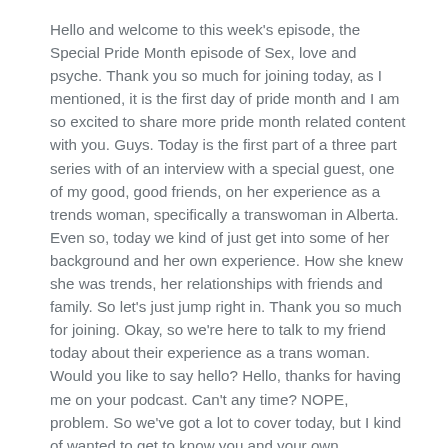Hello and welcome to this week's episode, the Special Pride Month episode of Sex, love and psyche. Thank you so much for joining today, as I mentioned, it is the first day of pride month and I am so excited to share more pride month related content with you. Guys. Today is the first part of a three part series with of an interview with a special guest, one of my good, good friends, on her experience as a trends woman, specifically a transwoman in Alberta. Even so, today we kind of just get into some of her background and her own experience. How she knew she was trends, her relationships with friends and family. So let's just jump right in. Thank you so much for joining. Okay, so we're here to talk to my friend today about their experience as a trans woman. Would you like to say hello? Hello, thanks for having me on your podcast. Can't any time? NOPE, problem. So we've got a lot to cover today, but I kind of wanted to get to know you and your own experience first. So did you want to just kind of start out with a pretty basic question? How long have you known you were trends my